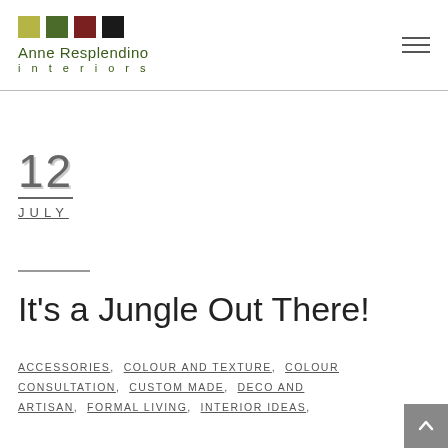Anne Resplendino interiors
12 JULY
It's a Jungle Out There!
ACCESSORIES, COLOUR AND TEXTURE, COLOUR CONSULTATION, CUSTOM MADE, DECO AND ARTISAN, FORMAL LIVING, INTERIOR IDEAS,